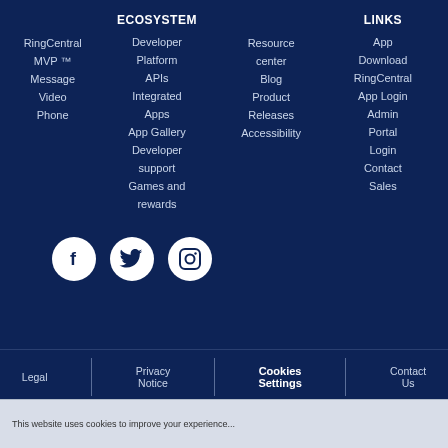ECOSYSTEM
LINKS
RingCentral MVP ™
Message
Video
Phone
Developer Platform
APIs
Integrated Apps
App Gallery
Developer support
Games and rewards
Resource center
Blog
Product Releases
Accessibility
App Download
RingCentral App Login
Admin Portal Login
Contact Sales
[Figure (infographic): Three white circular social media icons on dark blue background: Facebook (f), Twitter (bird), Instagram (camera)]
Legal | Privacy Notice | Cookies Settings | Contact Us